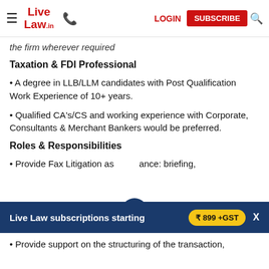Live Law | LOGIN | SUBSCRIBE
the firm wherever required
Taxation & FDI Professional
• A degree in LLB/LLM candidates with Post Qualification Work Experience of 10+ years.
• Qualified CA's/CS and working experience with Corporate, Consultants & Merchant Bankers would be preferred.
Roles & Responsibilities
• Provide Fax Litigation assistance: briefing,
Live Law subscriptions starting ₹ 899 +GST
• Provide support on the structuring of the transaction,